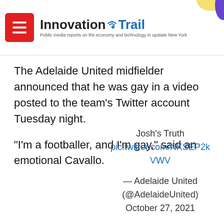Innovation Trail — Public media reports on the economy and technology in upstate New York
The Adelaide United midfielder announced that he was gay in a video posted to the team's Twitter account Tuesday night.
"I'm a footballer, and I'm gay," said an emotional Cavallo.
Josh's Truth pic.twitter.com/NKSEP2kVWV — Adelaide United (@AdelaideUnited) October 27, 2021